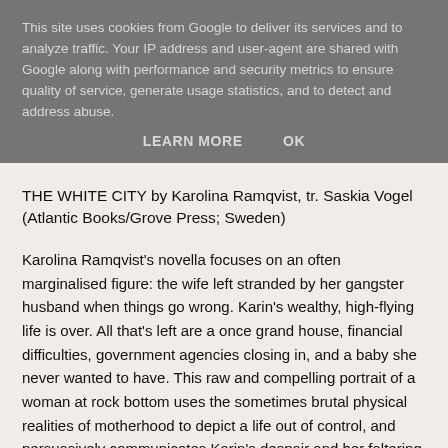This site uses cookies from Google to deliver its services and to analyze traffic. Your IP address and user-agent are shared with Google along with performance and security metrics to ensure quality of service, generate usage statistics, and to detect and address abuse.
LEARN MORE   OK
THE WHITE CITY by Karolina Ramqvist, tr. Saskia Vogel (Atlantic Books/Grove Press; Sweden)
Karolina Ramqvist's novella focuses on an often marginalised figure: the wife left stranded by her gangster husband when things go wrong. Karin's wealthy, high-flying life is over. All that's left are a once grand house, financial difficulties, government agencies closing in, and a baby she never wanted to have. This raw and compelling portrait of a woman at rock bottom uses the sometimes brutal physical realities of motherhood to depict a life out of control, and persuasively communicates Karin's despair and her faltering attempts to reclaim her life.